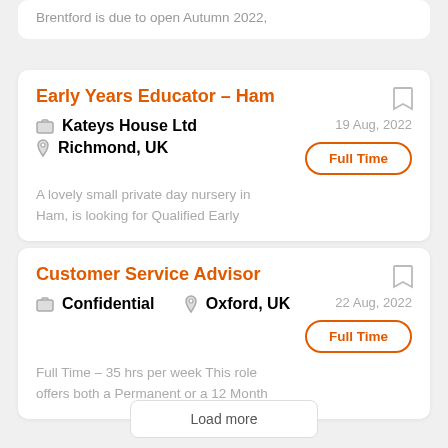Brentford is due to open Autumn 2022,
Early Years Educator - Ham
Kateys House Ltd
Richmond, UK
19 Aug, 2022
Full Time
A lovely small private day nursery in Ham, is looking for Qualified Early
Customer Service Advisor
Confidential
Oxford, UK
22 Aug, 2022
Full Time
Full Time - 35 hrs per week This role offers both a Permanent or a 12 Month
Load more